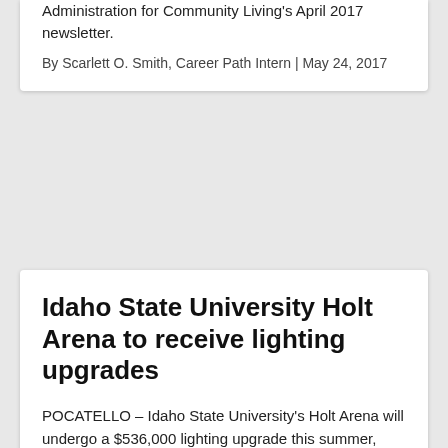Administration for Community Living's April 2017 newsletter.
By Scarlett O. Smith, Career Path Intern | May 24, 2017
Idaho State University Holt Arena to receive lighting upgrades
POCATELLO – Idaho State University's Holt Arena will undergo a $536,000 lighting upgrade this summer, replacing two older lighting systems with 85 LED lighting fixtures.
May 24, 2017